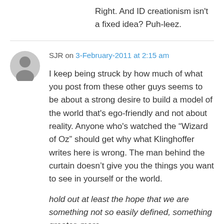Right. And ID creationism isn't a fixed idea? Puh-leez.
SJR on 3-February-2011 at 2:15 am
I keep being struck by how much of what you post from these other guys seems to be about a strong desire to build a model of the world that's ego-friendly and not about reality. Anyone who's watched the “Wizard of Oz” should get why what Klinghoffer writes here is wrong. The man behind the curtain doesn’t give you the things you want to see in yourself or the world.
hold out at least the hope that we are something not so easily defined, something greater, more